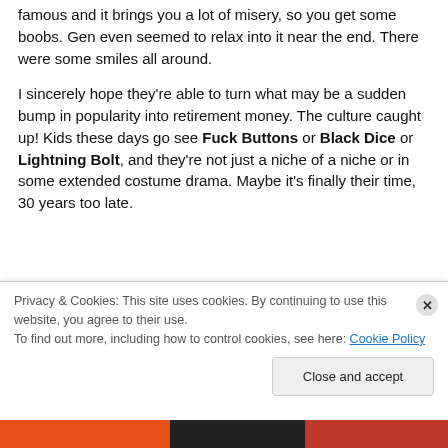famous and it brings you a lot of misery, so you get some boobs. Gen even seemed to relax into it near the end. There were some smiles all around.
I sincerely hope they're able to turn what may be a sudden bump in popularity into retirement money. The culture caught up! Kids these days go see Fuck Buttons or Black Dice or Lightning Bolt, and they're not just a niche of a niche or in some extended costume drama. Maybe it's finally their time, 30 years too late.
Privacy & Cookies: This site uses cookies. By continuing to use this website, you agree to their use. To find out more, including how to control cookies, see here: Cookie Policy
Close and accept